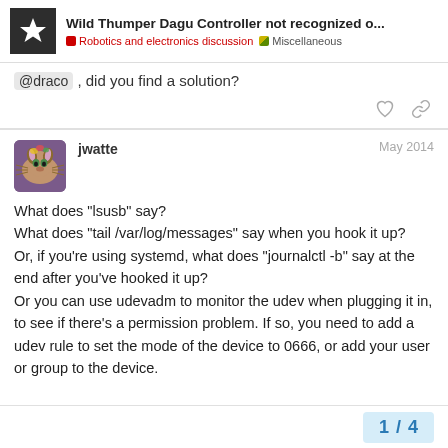Wild Thumper Dagu Controller not recognized o... | Robotics and electronics discussion | Miscellaneous
@draco , did you find a solution?
jwatte  May 2014
What does "lsusb" say?
What does "tail /var/log/messages" say when you hook it up?
Or, if you're using systemd, what does "journalctl -b" say at the end after you've hooked it up?
Or you can use udevadm to monitor the udev when plugging it in, to see if there's a permission problem. If so, you need to add a udev rule to set the mode of the device to 0666, or add your user or group to the device.
1 / 4